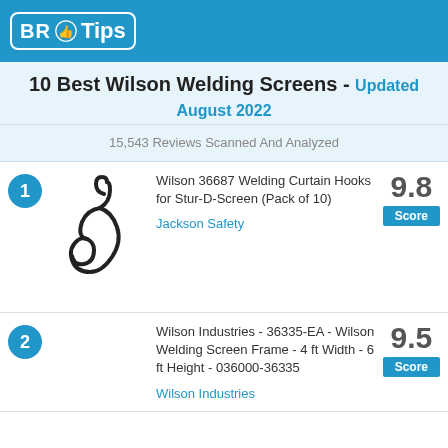BR Tips
10 Best Wilson Welding Screens - Updated August 2022
15,543 Reviews Scanned And Analyzed
1. Wilson 36687 Welding Curtain Hooks for Stur-D-Screen (Pack of 10) | Jackson Safety | Score: 9.8
2. Wilson Industries - 36335-EA - Wilson Welding Screen Frame - 4 ft Width - 6 ft Height - 036000-36335 | Wilson Industries | Score: 9.5